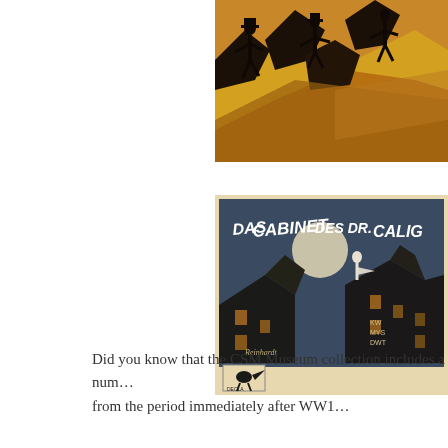[Figure (illustration): Top portion of an expressionist film poster or artwork showing silhouetted figures in dynamic poses against a warm orange and yellow background with dramatic angular shapes.]
[Figure (illustration): Poster for 'Das Cabinet des Dr. Caligari' — a classic German expressionist horror film. Shows angular rooftops of buildings at night with a full moon, a figure standing on a rooftop, and hand-lettered title text 'DAS CABINET DES DR. CALIG...' at top. Decla studio bird logo at bottom left.]
Did you know that the CSM Museum collection includes a num... from the period immediately after WW1…